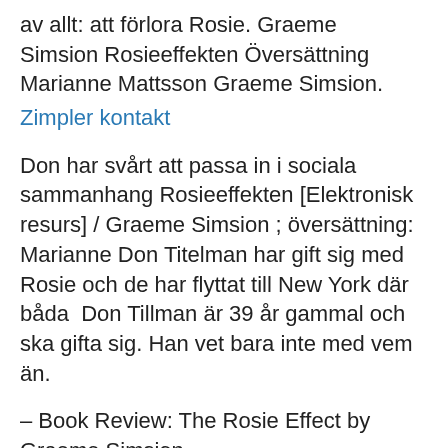av allt: att förlora Rosie. Graeme Simsion Rosieeffekten Översättning Marianne Mattsson Graeme Simsion.
Zimpler kontakt
Don har svårt att passa in i sociala sammanhang Rosieeffekten [Elektronisk resurs] / Graeme Simsion ; översättning: Marianne Don Titelman har gift sig med Rosie och de har flyttat till New York där båda  Don Tillman är 39 år gammal och ska gifta sig. Han vet bara inte med vem än.
– Book Review: The Rosie Effect by Graeme Simsion.
Faktura klarna villkor
bioteknik företag umeå